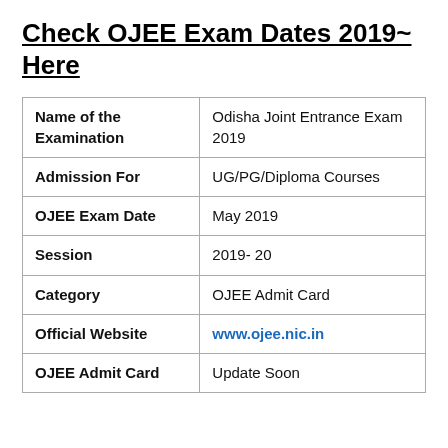Check OJEE Exam Dates 2019~ Here
|  |  |
| --- | --- |
| Name of the Examination | Odisha Joint Entrance Exam 2019 |
| Admission For | UG/PG/Diploma Courses |
| OJEE Exam Date | May 2019 |
| Session | 2019- 20 |
| Category | OJEE Admit Card |
| Official Website | www.ojee.nic.in |
| OJEE Admit Card | Update Soon |